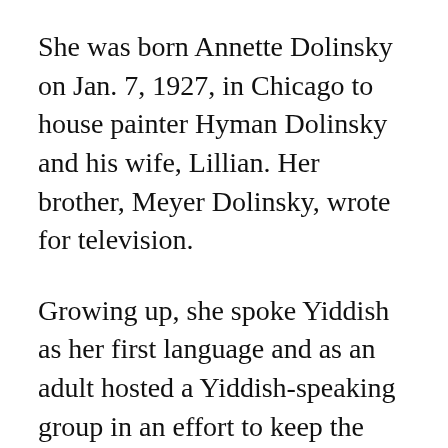She was born Annette Dolinsky on Jan. 7, 1927, in Chicago to house painter Hyman Dolinsky and his wife, Lillian. Her brother, Meyer Dolinsky, wrote for television.
Growing up, she spoke Yiddish as her first language and as an adult hosted a Yiddish-speaking group in an effort to keep the language alive.
At UCLA, she earned a bachelor's